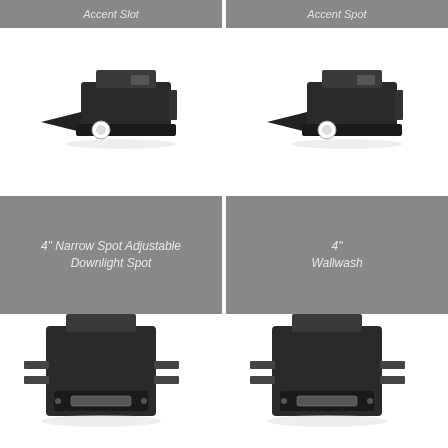Accent Slot
Accent Spot
[Figure (photo): 4 inch narrow spot adjustable downlight fixture, black housing, rectangular trim, viewed from 3/4 angle]
[Figure (photo): 4 inch wallwash fixture, black housing, rectangular trim, viewed from 3/4 angle]
4" Narrow Spot Adjustable Downlight Spot
4"
Wallwash
[Figure (photo): Bottom-left fixture, black square housing with mounting hardware, viewed from 3/4 angle]
[Figure (photo): Bottom-right fixture, black square housing with mounting hardware, viewed from 3/4 angle]